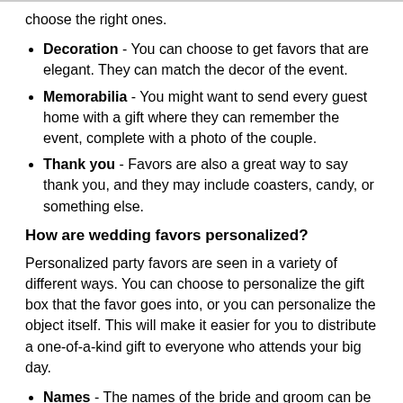choose the right ones.
Decoration - You can choose to get favors that are elegant. They can match the decor of the event.
Memorabilia - You might want to send every guest home with a gift where they can remember the event, complete with a photo of the couple.
Thank you - Favors are also a great way to say thank you, and they may include coasters, candy, or something else.
How are wedding favors personalized?
Personalized party favors are seen in a variety of different ways. You can choose to personalize the gift box that the favor goes into, or you can personalize the object itself. This will make it easier for you to distribute a one-of-a-kind gift to everyone who attends your big day.
Names - The names of the bride and groom can be printed onto the wedding favors.
Date - The date of the wedding can be printed onto